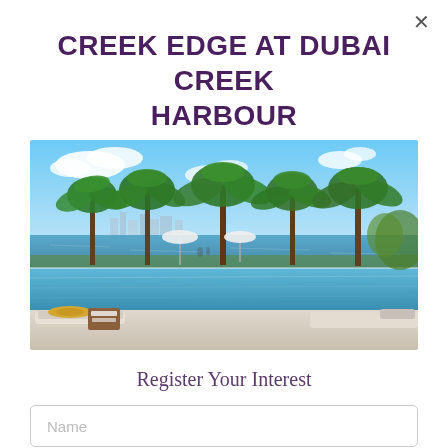CREEK EDGE AT DUBAI CREEK HARBOUR
[Figure (photo): Aerial poolside render of Creek Edge at Dubai Creek Harbour showing an infinity pool with palm trees, sunbeds, a straw hat, books on a wooden table, and a waterfront skyline in the background under a bright blue sky.]
Register Your Interest
Name